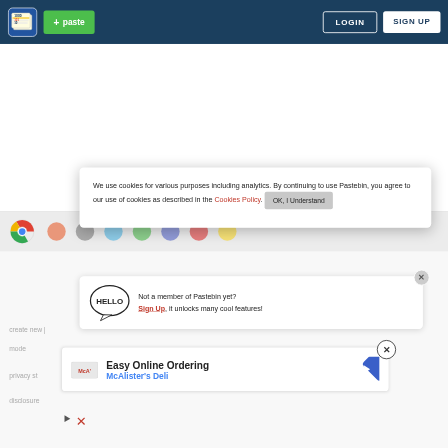[Figure (screenshot): Pastebin website header navigation bar with logo, green paste button, LOGIN and SIGN UP buttons on dark blue background]
[Figure (screenshot): Cookie consent popup: 'We use cookies for various purposes including analytics. By continuing to use Pastebin, you agree to our use of cookies as described in the Cookies Policy. OK, I Understand button']
[Figure (screenshot): Hello bubble popup: 'Not a member of Pastebin yet? Sign Up, it unlocks many cool features!']
[Figure (screenshot): Ad panel: Easy Online Ordering - McAlister's Deli advertisement with navigation icon]
create new |
mode
privacy st
disclosure